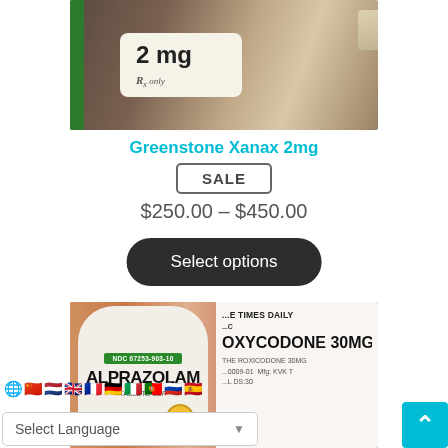[Figure (photo): Close-up photo of a hand holding a medication box showing '2 mg' and 'Rx only' label with a green stripe]
Greenstone Xanax 2mg
SALE
$250.00 – $450.00
Select options
[Figure (photo): Photo of medication bottles: an Alprazolam tablet bottle with NDC 67253-903-10 label and a green stripe, and an Oxycodone 30mg bottle visible beside it. Language selector overlay at bottom left.]